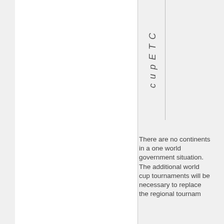cupETC
There are no continents in a one world government situation. The additional world cup tournaments will be necessary to replace the regional tournam